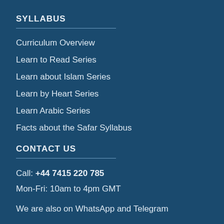SYLLABUS
Curriculum Overview
Learn to Read Series
Learn about Islam Series
Learn by Heart Series
Learn Arabic Series
Facts about the Safar Syllabus
CONTACT US
Call: +44 7415 220 785
Mon-Fri: 10am to 4pm GMT
We are also on WhatsApp and Telegram